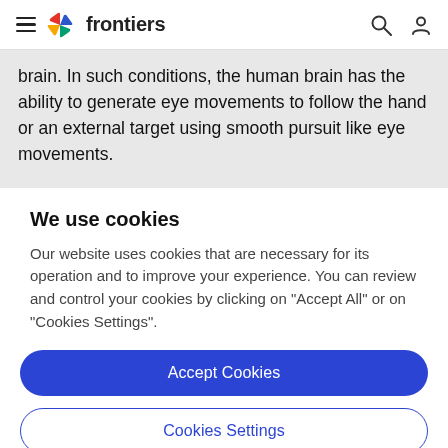frontiers
brain. In such conditions, the human brain has the ability to generate eye movements to follow the hand or an external target using smooth pursuit like eye movements.
We use cookies
Our website uses cookies that are necessary for its operation and to improve your experience. You can review and control your cookies by clicking on "Accept All" or on "Cookies Settings".
Accept Cookies
Cookies Settings